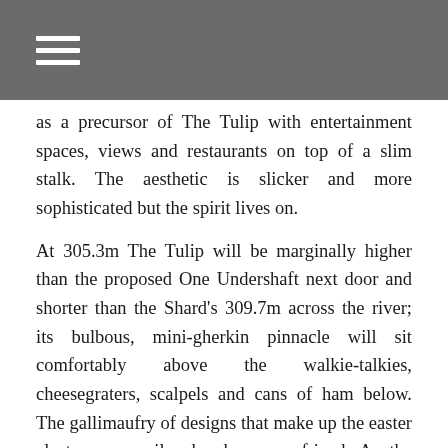≡
as a precursor of The Tulip with entertainment spaces, views and restaurants on top of a slim stalk. The aesthetic is slicker and more sophisticated but the spirit lives on.

At 305.3m The Tulip will be marginally higher than the proposed One Undershaft next door and shorter than the Shard's 309.7m across the river; its bulbous, mini-gherkin pinnacle will sit comfortably above the walkie-talkies, cheesegraters, scalpels and cans of ham below. The gallimaufry of designs that make up the easter cluster can easily absorb a new friend. As the scale of the latest orthogonal towers – 22 Bishopsgate and 100 Bishopsgate – becomes apparent, it is clear that the townscape can only take a few such behemoths. There is still a role for the sort of varied geometry that has defined the City over the past decade and has proved popular with the public. Indeed, when NLA carried out research into the number of towers being built in London a commonly heard complaint was that their views of